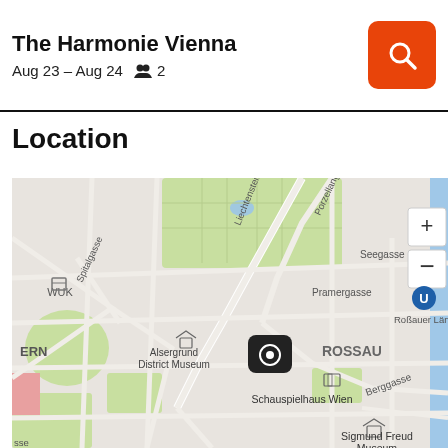The Harmonie Vienna
Aug 23 – Aug 24   👥 2
Location
[Figure (map): Street map of Vienna (Alsergrund/Rossau area) showing The Harmonie Vienna hotel location marked with a pin near Liechtensteinstraße. Visible landmarks include WUK, Alsergrund District Museum, Schauspielhaus Wien, Sigmund Freud Museum, with streets Porzellangasse, Pramergasse, Seegasse, Spitalgasse, Berggasse, Roßauer Lände labeled. Map has zoom +/- controls in top-right corner.]